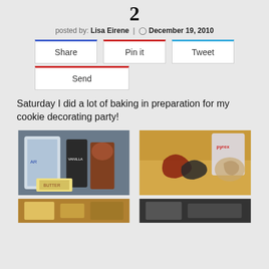2
posted by: Lisa Eirene | December 19, 2010
[Figure (screenshot): Social sharing buttons: Share (blue top border), Pin it (red top border), Tweet (cyan top border), and Send (red top border)]
Saturday I did a lot of baking in preparation for my cookie decorating party!
[Figure (photo): Two photos side by side: left photo shows baking ingredients including sugar, vanilla extract, maple syrup/bourbon bottle, and butter; right photo shows cookie cutters on a wooden board with a Pyrex measuring cup in the background]
[Figure (photo): Two partially visible photos at the bottom of the page]